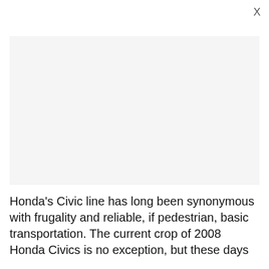X
[Figure (photo): Large light gray rectangular placeholder image area]
Honda's Civic line has long been synonymous with frugality and reliable, if pedestrian, basic transportation. The current crop of 2008 Honda Civics is no exception, but these days